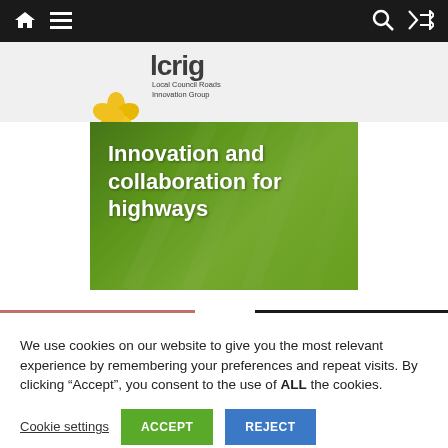Navigation bar with home, menu, search, and shuffle icons
[Figure (logo): LCRIG - Local Council Roads Innovation Group logo with yellow flower emblem and grey text]
[Figure (photo): Green-tinted highway/motorway aerial photo with white text overlay reading 'Innovation and collaboration for highways']
We use cookies on our website to give you the most relevant experience by remembering your preferences and repeat visits. By clicking “Accept”, you consent to the use of ALL the cookies.
Cookie settings | ACCEPT | REJECT